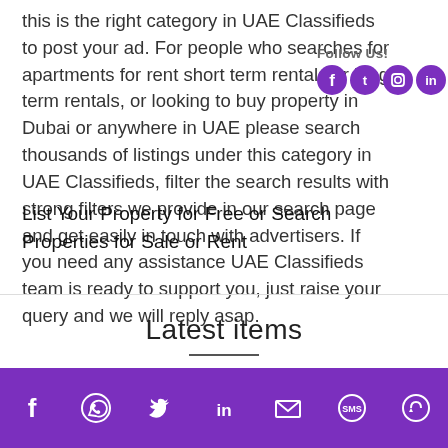this is the right category in UAE Classifieds to post your ad. For people who searches for apartments for rent short term rentals or long term rentals, or looking to buy property in Dubai or anywhere in UAE please search thousands of listings under this category in UAE Classifieds, filter the search results with strong filters we provide in our search page and get easily in touch with advertisers. If you need any assistance UAE Classifieds team is ready to support you, just raise your query and we will reply asap.
List Your Property for Free or Search Properties for Sale or Rent
[Figure (infographic): Follow Us! label with Facebook, Twitter, Instagram, LinkedIn social media icons in purple circles]
Latest items
[Figure (infographic): Purple bottom bar with social sharing icons: Facebook, WhatsApp, Twitter, LinkedIn, Email, SMS, Share]